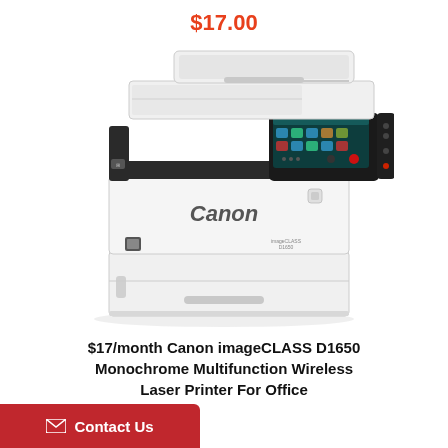$17.00
[Figure (photo): Canon imageCLASS D1650 Monochrome Multifunction Wireless Laser Printer, white body with black control panel featuring a touchscreen display with colorful buttons, automatic document feeder on top, paper tray at bottom]
$17/month Canon imageCLASS D1650 Monochrome Multifunction Wireless Laser Printer For Office
Contact Us